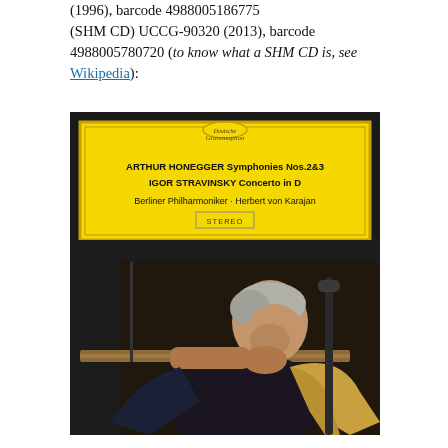(1996), barcode 4988005186775 (SHM CD) UCCG-90320 (2013), barcode 4988005780720 (to know what a SHM CD is, see Wikipedia):
[Figure (photo): Album cover of Deutsche Grammophon CD featuring Arthur Honegger Symphonies Nos.2&3 and Igor Stravinsky Concerto in D, performed by Berliner Philharmoniker and Herbert von Karajan. Yellow DG label at top with artist and work details, below is a photograph of conductor Herbert von Karajan leaning forward with chin resting on hands, wearing a dark jacket with a light-colored vest/scarf.]